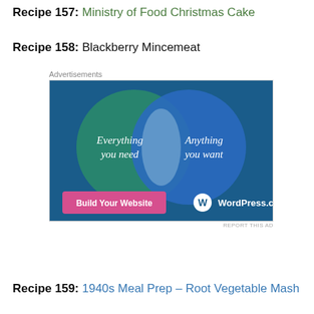Recipe 157: Ministry of Food Christmas Cake
Recipe 158: Blackberry Mincemeat
[Figure (infographic): WordPress.com advertisement showing a Venn diagram with two overlapping circles on a teal/blue background. Left circle (teal/green): 'Everything you need'. Right circle (blue): 'Anything you want'. Overlapping region is lighter. Bottom left has a pink button 'Build Your Website'. Bottom right shows WordPress.com logo and name.]
Recipe 159: 1940s Meal Prep – Root Vegetable Mash